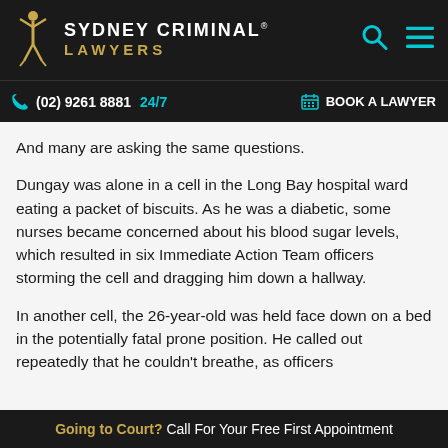SYDNEY CRIMINAL® LAWYERS
(02) 9261 8881  24/7  BOOK A LAWYER
And many are asking the same questions.
Dungay was alone in a cell in the Long Bay hospital ward eating a packet of biscuits. As he was a diabetic, some nurses became concerned about his blood sugar levels, which resulted in six Immediate Action Team officers storming the cell and dragging him down a hallway.
In another cell, the 26-year-old was held face down on a bed in the potentially fatal prone position. He called out repeatedly that he couldn't breathe, as officers
Going to Court? Call For Your Free First Appointment